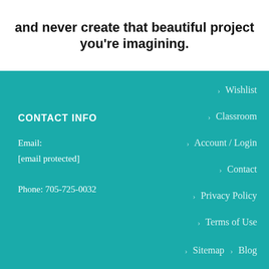and never create that beautiful project you're imagining.
CONTACT INFO
Email:
[email protected]
Phone: 705-725-0032
Wishlist
Classroom
Account / Login
Contact
Privacy Policy
Terms of Use
Sitemap
Blog